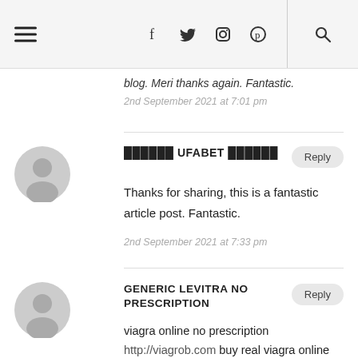Navigation header with hamburger menu, social icons (f, twitter, instagram, pinterest) and search
blog. Meri thanks again. Fantastic.
2nd September 2021 at 7:01 pm
▓▓▓▓▓▓ UFABET ██████
Thanks for sharing, this is a fantastic article post. Fantastic.
2nd September 2021 at 7:33 pm
GENERIC LEVITRA NO PRESCRIPTION
viagra online no prescription

http://viagrob.com buy real viagra online cheap
2nd September 2021 at 8:34 pm